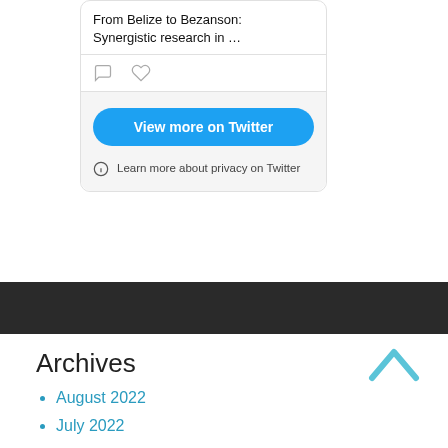[Figure (screenshot): Twitter embed widget showing truncated tweet text 'From Belize to Bezanson: Synergistic research in …' with comment and like icons, a 'View more on Twitter' button, and a privacy notice]
Archives
August 2022
July 2022